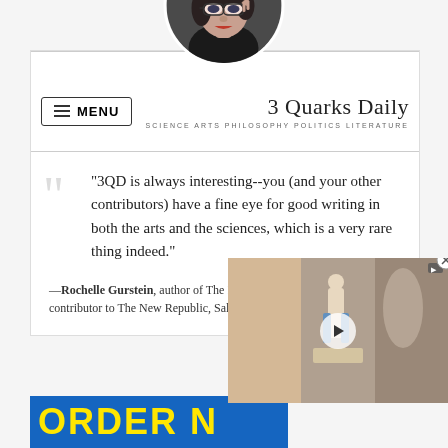[Figure (photo): Circular portrait photo of a woman with glasses adjusting her frames, wearing dark clothing, against a dark background.]
MENU
3 Quarks Daily
SCIENCE ARTS PHILOSOPHY POLITICS LITERATURE
"3QD is always interesting--you (and your other contributors) have a fine eye for good writing in both the arts and the sciences, which is a very rare thing indeed."
—Rochelle Gurstein, author of The Repeal of Reticence, and frequent contributor to The New Republic, Salmagundi, and American Scholar.
[Figure (photo): Video thumbnail showing a person in a room, with a play button overlay.]
ORDER N...